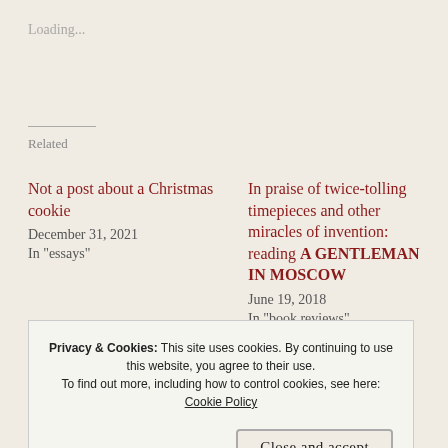Loading...
Related
Not a post about a Christmas cookie
December 31, 2021
In "essays"
In praise of twice-tolling timepieces and other miracles of invention: reading A GENTLEMAN IN MOSCOW
June 19, 2018
In "book reviews"
Privacy & Cookies: This site uses cookies. By continuing to use this website, you agree to their use.
To find out more, including how to control cookies, see here:
Cookie Policy
Close and accept